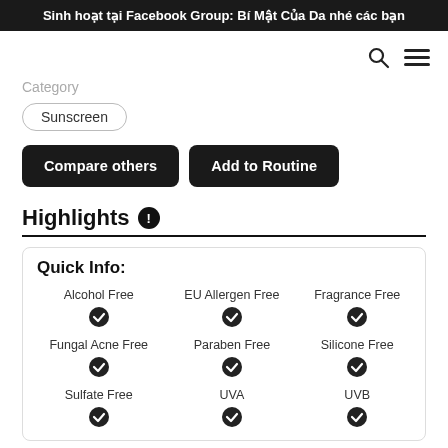Sinh hoạt tại Facebook Group: Bí Mật Của Da nhé các bạn
Category
Sunscreen
Compare others
Add to Routine
Highlights
| Alcohol Free | EU Allergen Free | Fragrance Free | Fungal Acne Free | Paraben Free | Silicone Free | Sulfate Free | UVA | UVB |
| --- | --- | --- | --- | --- | --- | --- | --- | --- |
| ✓ | ✓ | ✓ |
| Fungal Acne Free | Paraben Free | Silicone Free |
| ✓ | ✓ | ✓ |
| Sulfate Free | UVA | UVB |
| ✓ | ✓ | ✓ |